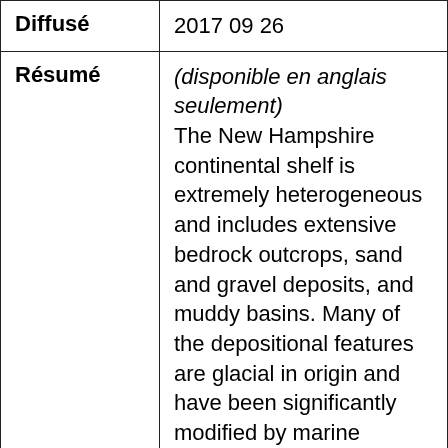| Field | Value |
| --- | --- |
| Diffusé | 2017 09 26 |
| Résumé | (disponible en anglais seulement)
The New Hampshire continental shelf is extremely heterogeneous and includes extensive bedrock outcrops, sand and gravel deposits, and muddy basins. Many of the depositional features are glacial in origin and have been significantly modified by marine processes as sea level fluctuated since the end of the last major glaciation. Glacial deposits (e.g. |